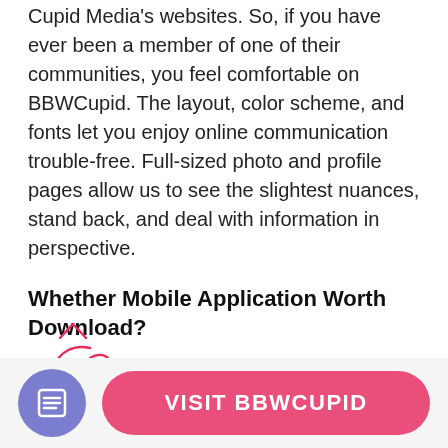Cupid Media's websites. So, if you have ever been a member of one of their communities, you feel comfortable on BBWCupid. The layout, color scheme, and fonts let you enjoy online communication trouble-free. Full-sized photo and profile pages allow us to see the slightest nuances, stand back, and deal with information in perspective.
Whether Mobile Application Worth Download?
The BBWCupid cannot boast tons of engaging features or state-of-the-art design. Still, it's clear for novices and has the identical to the main website functionality. You can download the app free and create a profile there, as well as upload photos and make transactions to pay for the subscription. However, many people in their
[Figure (other): Red handwritten circle annotation with '43%' label overlaid on the text]
VISIT BBWCUPID